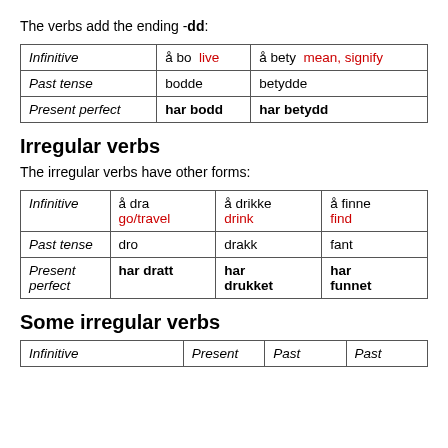The verbs add the ending -dd:
|  |  |  |
| --- | --- | --- |
| Infinitive | å bo  live | å bety  mean, signify |
| Past tense | bodde | betydde |
| Present perfect | har bodd | har betydd |
Irregular verbs
The irregular verbs have other forms:
|  |  |  |  |
| --- | --- | --- | --- |
| Infinitive | å dra
go/travel | å drikke
drink | å finne
find |
| Past tense | dro | drakk | fant |
| Present perfect | har dratt | har drukket | har funnet |
Some irregular verbs
| Infinitive | Present | Past | Past |
| --- | --- | --- | --- |